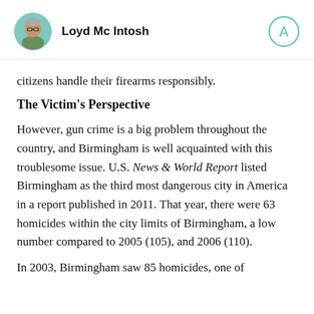[Figure (photo): Circular avatar photo of author Loyd Mc Intosh, a man with glasses and short gray hair]
Loyd Mc Intosh
[Figure (logo): Circular logo with letter A inside, teal/blue outline]
citizens handle their firearms responsibly.
The Victim's Perspective
However, gun crime is a big problem throughout the country, and Birmingham is well acquainted with this troublesome issue. U.S. News & World Report listed Birmingham as the third most dangerous city in America in a report published in 2011. That year, there were 63 homicides within the city limits of Birmingham, a low number compared to 2005 (105), and 2006 (110).
In 2003, Birmingham saw 85 homicides, one of